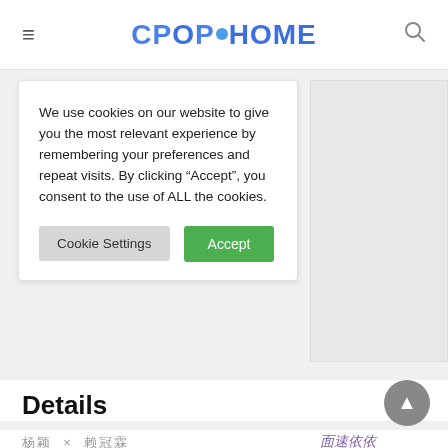CPOPHOME
We use cookies on our website to give you the most relevant experience by remembering your preferences and repeat visits. By clicking “Accept”, you consent to the use of ALL the cookies.
Cookie Settings  Accept
Details
杨颜 × 賴冒森